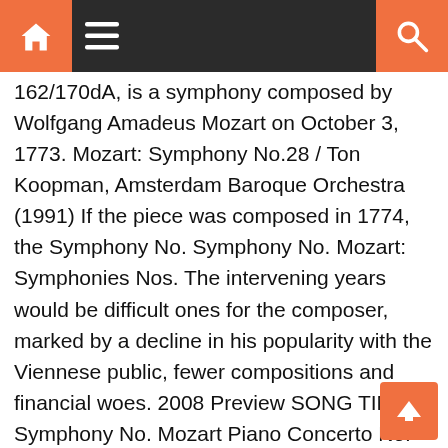Navigation bar with home, menu, and search icons
162/170dA, is a symphony composed by Wolfgang Amadeus Mozart on October 3, 1773. Mozart: Symphony No.28 / Ton Koopman, Amsterdam Baroque Orchestra (1991) If the piece was composed in 1774, the Symphony No. Symphony No. Mozart: Symphonies Nos. The intervening years would be difficult ones for the composer, marked by a decline in his popularity with the Viennese public, fewer compositions and financial woes. 2008 Preview SONG TIME Symphony No. Mozart Piano Concerto No. Save my name, email, and website in this browser for the next time I comment. The symphony has the scoring of 2 oboes (replaced by 2 flutes in the slow movement), 2 horns, and strings. Mozart Symphony 39 Movement 2-Violin Excerpt (1-27), this is an extremely popular excerpt requested at symphony auditions. By continuing to browse the site you are agreeing to our use of